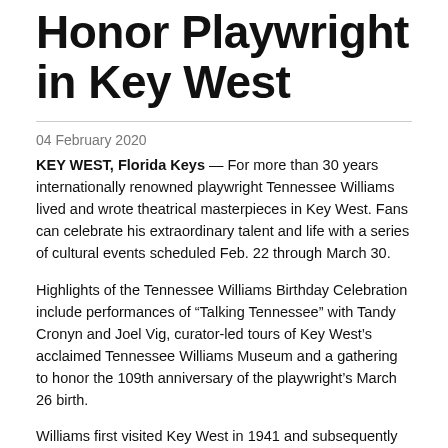Honor Playwright in Key West
04 February 2020
KEY WEST, Florida Keys — For more than 30 years internationally renowned playwright Tennessee Williams lived and wrote theatrical masterpieces in Key West. Fans can celebrate his extraordinary talent and life with a series of cultural events scheduled Feb. 22 through March 30.
Highlights of the Tennessee Williams Birthday Celebration include performances of “Talking Tennessee” with Tandy Cronyn and Joel Vig, curator-led tours of Key West’s acclaimed Tennessee Williams Museum and a gathering to honor the 109th anniversary of the playwright’s March 26 birth.
Williams first visited Key West in 1941 and subsequently purchased the 1431 Duncan St. house that became his home until his death in 1983. He completed “Summer and Smoke” on the island and wrote other classics including “Night of the Iguana.” Th